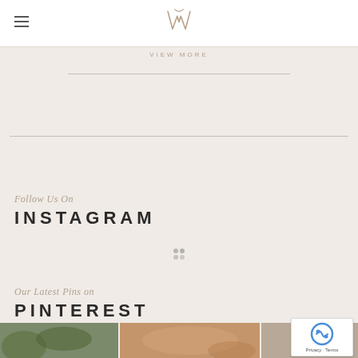W (logo)
VIEW MORE
Follow Us On
INSTAGRAM
[Figure (other): Loading spinner dots]
Our Latest Pins on
PINTEREST
[Figure (photo): Two Pinterest pin thumbnail images at bottom of page]